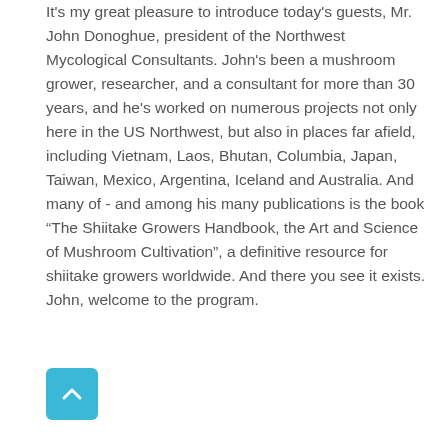It's my great pleasure to introduce today's guests, Mr. John Donoghue, president of the Northwest Mycological Consultants. John's been a mushroom grower, researcher, and a consultant for more than 30 years, and he's worked on numerous projects not only here in the US Northwest, but also in places far afield, including Vietnam, Laos, Bhutan, Columbia, Japan, Taiwan, Mexico, Argentina, Iceland and Australia. And many of - and among his many publications is the book “The Shiitake Growers Handbook, the Art and Science of Mushroom Cultivation”, a definitive resource for shiitake growers worldwide. And there you see it exists. John, welcome to the program.
[Figure (other): A teal/cyan rounded square button with an upward-pointing chevron arrow icon, used as a scroll-to-top navigation button.]